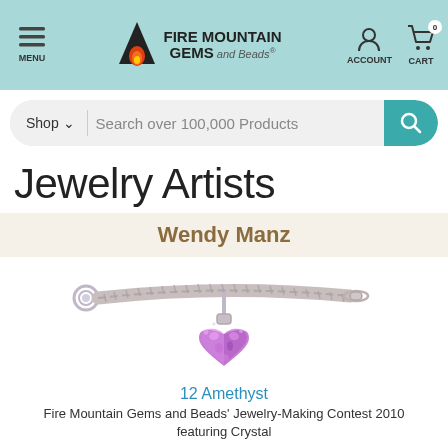MENU | FIRE MOUNTAIN GEMS and Beads | ACCOUNT | CART 0
Search over 100,000 Products
Jewelry Artists
Wendy Manz
[Figure (photo): A silver chain bracelet with a purple amethyst crystal heart charm hanging from the center. The bracelet has a toggle clasp on one end and a decorative ring on the other.]
12 Amethyst
Fire Mountain Gems and Beads' Jewelry-Making Contest 2010 featuring Crystal